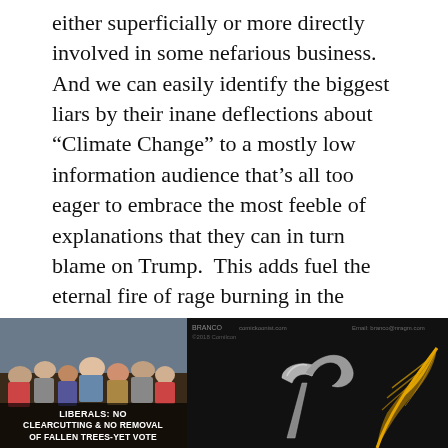either superficially or more directly involved in some nefarious business.  And we can easily identify the biggest liars by their inane deflections about “Climate Change” to a mostly low information audience that’s all too eager to embrace the most feeble of explanations that they can in turn blame on Trump.  This adds fuel the eternal fire of rage burning in the countless indoctrinated hoards of “Never Trumpers” while at the same time keeping them too distracted with hate to ask any of the appropriate questions.
[Figure (photo): Left image: crowd of people with text overlay reading 'LIBERALS: NO CLEARCUTTING & NO REMOVAL OF FALLEN TREES-YET VOTE']
[Figure (photo): Right image: dark background with a metallic hammer/sickle and a yellow feather quill]